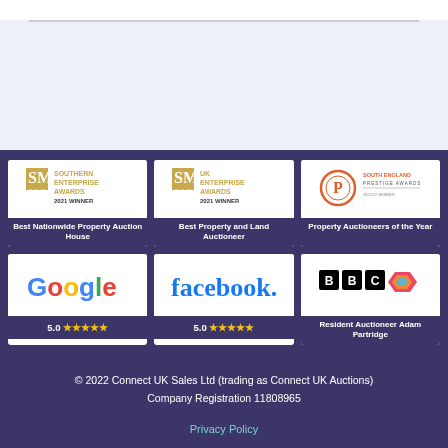[Figure (logo): Top white/light blue section with horizontal rule]
[Figure (logo): SME News Southern Enterprise Awards 2021 Winner - Best Nationwide Property Auction House]
[Figure (logo): SME News UK Enterprise Awards 2021 Winner - Best Property and Land Auctioneer]
[Figure (logo): South England Prestige Awards 2021/22 Winner - Property Auctioneers of the Year]
[Figure (logo): Google 5.0 five stars rating]
[Figure (logo): Facebook 5.0 five stars rating]
[Figure (logo): BBC logo with Resident Auctioneer Adam Partridge]
© 2022 Connect UK Sales Ltd (trading as Connect UK Auctions)
Company Registration 11808965

Privacy Policy